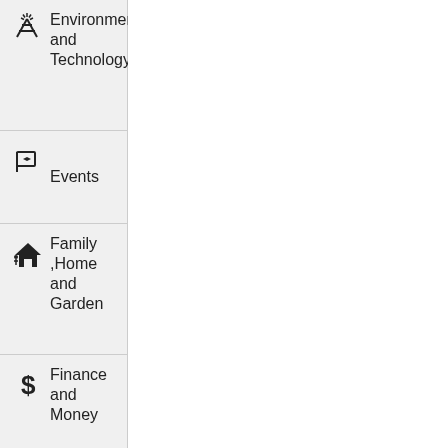Environment and Technology
Events
Family ,Home and Garden
Finance and Money
Food and Drink